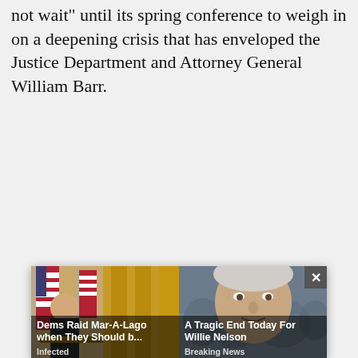not wait" until its spring conference to weigh in on a deepening crisis that has enveloped the Justice Department and Attorney General William Barr.
[Figure (photo): Advertisement overlay with two ad cards. Left card shows a man (Trump) seated at a desk with US flags, captioned 'Dems Raid Mar-A-Lago when They Should b...' with source label 'Infected'. Right card shows an elderly man (Willie Nelson), captioned 'A Tragic End Today For Willie Nelson' with source label 'Breaking News'. A close button (×) appears in the top-right corner.]